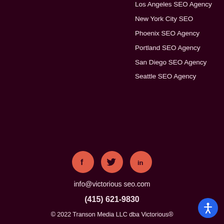Los Angeles SEO Agency
New York City SEO
Phoenix SEO Agency
Portland SEO Agency
San Diego SEO Agency
Seattle SEO Agency
[Figure (other): Social media icons: Facebook, Twitter, LinkedIn in coral/red circles]
info@victorious seo.com
(415) 621-9830
© 2022 Transon Media LLC dba Victorious®